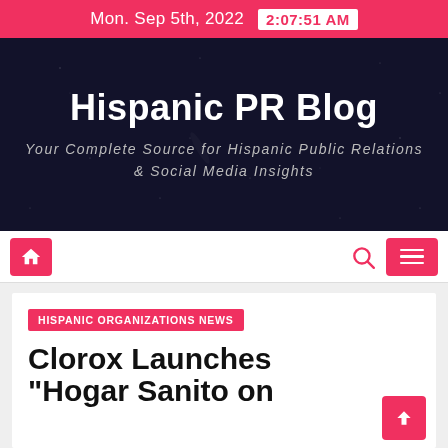Mon. Sep 5th, 2022  2:07:51 AM
Hispanic PR Blog
Your Complete Source for Hispanic Public Relations & Social Media Insights
[Figure (screenshot): Navigation bar with home button (red), search icon (pink), and hamburger menu button (red)]
HISPANIC ORGANIZATIONS NEWS
Clorox Launches "Hogar Sanito on